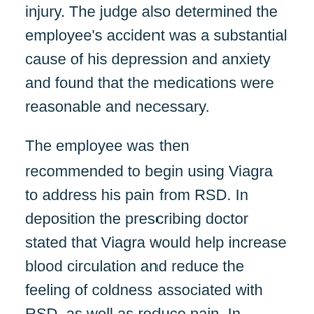injury. The judge also determined the employee's accident was a substantial cause of his depression and anxiety and found that the medications were reasonable and necessary.
The employee was then recommended to begin using Viagra to address his pain from RSD. In deposition the prescribing doctor stated that Viagra would help increase blood circulation and reduce the feeling of coldness associated with RSD, as well as reduce pain. In November 2014 the doctor testified the employee's condition and depression had improved since using Viagra.
The employee was reevaluated by the IME doctor in November 2014 who opined that Viagra was not warranted. The employer and insurer then disallowed the prescription expense for Viagra. In January 2015 the